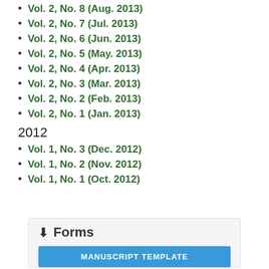Vol. 2, No. 8 (Aug. 2013)
Vol. 2, No. 7 (Jul. 2013)
Vol. 2, No. 6 (Jun. 2013)
Vol. 2, No. 5 (May. 2013)
Vol. 2, No. 4 (Apr. 2013)
Vol. 2, No. 3 (Mar. 2013)
Vol. 2, No. 2 (Feb. 2013)
Vol. 2, No. 1 (Jan. 2013)
2012
Vol. 1, No. 3 (Dec. 2012)
Vol. 1, No. 2 (Nov. 2012)
Vol. 1, No. 1 (Oct. 2012)
Forms
MANUSCRIPT TEMPLATE